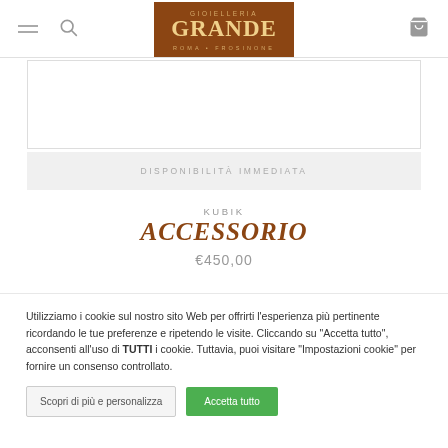Gioielleria Grande - Roma + Frosinone
[Figure (other): Empty product image box with border]
DISPONIBILITÀ IMMEDIATA
KUBIK
ACCESSORIO
€450,00
Utilizziamo i cookie sul nostro sito Web per offrirti l'esperienza più pertinente ricordando le tue preferenze e ripetendo le visite. Cliccando su "Accetta tutto", acconsenti all'uso di TUTTI i cookie. Tuttavia, puoi visitare "Impostazioni cookie" per fornire un consenso controllato.
Scopri di più e personalizza | Accetta tutto